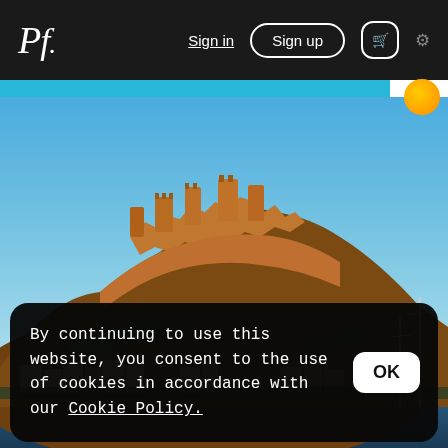Pf. Sign in Sign up 🛒 ⚙
[Figure (photo): Photograph of a medieval castle (Mont Orgueil, Jersey) on a rocky hill under a clear blue sky, with harbour town buildings below and sailboat masts visible on the right]
By continuing to use this website, you consent to the use of cookies in accordance with our Cookie Policy.